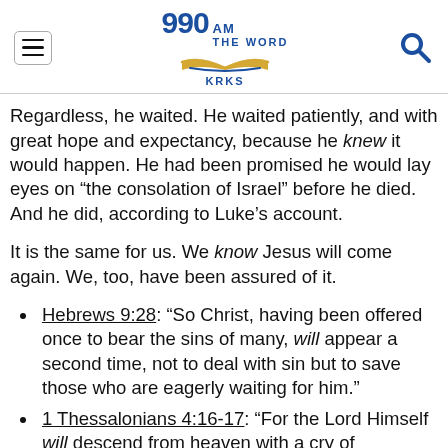990 AM THE WORD KRKS
Regardless, he waited. He waited patiently, and with great hope and expectancy, because he knew it would happen. He had been promised he would lay eyes on “the consolation of Israel” before he died. And he did, according to Luke’s account.
It is the same for us. We know Jesus will come again. We, too, have been assured of it.
Hebrews 9:28: “So Christ, having been offered once to bear the sins of many, will appear a second time, not to deal with sin but to save those who are eagerly waiting for him.”
1 Thessalonians 4:16-17: “For the Lord Himself will descend from heaven with a cry of command, with the voice of an archangel, and with the sound of the